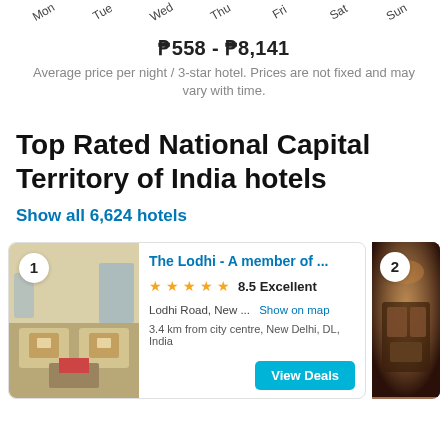Mon  Tue  Wed  Thu  Fri  Sat  Sun
₱558 - ₱8,141
Average price per night / 3-star hotel. Prices are not fixed and may vary with time.
Top Rated National Capital Territory of India hotels
Show all 6,624 hotels
1
[Figure (photo): Hotel room interior photo for The Lodhi]
The Lodhi - A member of ...
★★★★★ 8.5 Excellent
Lodhi Road, New ...   Show on map
3.4 km from city centre, New Delhi, DL, India
View Deals
2
[Figure (photo): Hotel interior photo for second hotel listing]